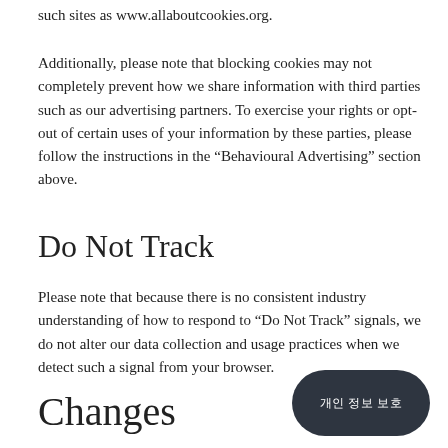such sites as www.allaboutcookies.org.
Additionally, please note that blocking cookies may not completely prevent how we share information with third parties such as our advertising partners. To exercise your rights or opt-out of certain uses of your information by these parties, please follow the instructions in the “Behavioural Advertising” section above.
Do Not Track
Please note that because there is no consistent industry understanding of how to respond to “Do Not Track” signals, we do not alter our data collection and usage practices when we detect such a signal from your browser.
Changes
[Figure (other): Dark oval button with Korean text (개인 정보 보호)]